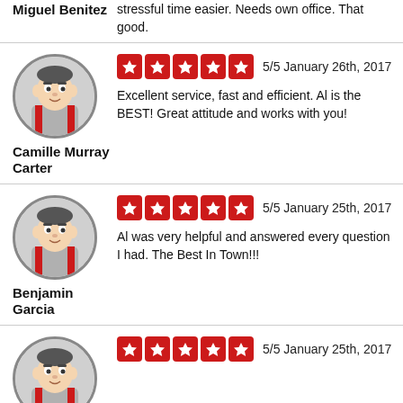stressful time easier. Needs own office. That good.
Miguel Benitez
[Figure (illustration): Circular avatar icon of a cartoon mechanic/wrestler character in red and grey]
5/5 January 26th, 2017
Excellent service, fast and efficient. Al is the BEST! Great attitude and works with you!
Camille Murray Carter
[Figure (illustration): Circular avatar icon of a cartoon mechanic/wrestler character in red and grey]
5/5 January 25th, 2017
Al was very helpful and answered every question I had. The Best In Town!!!
Benjamin Garcia
[Figure (illustration): Circular avatar icon of a cartoon mechanic/wrestler character in red and grey, partially visible]
5/5 January 25th, 2017